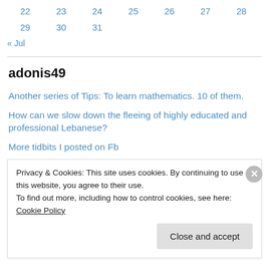22  23  24  25  26  27  28
29  30  31
« Jul
adonis49
Another series of Tips: To learn mathematics. 10 of them.
How can we slow down the fleeing of highly educated and professional Lebanese?
More tidbits I posted on Fb
Western Europe endemic hypocrisy with Holocaust: What that has to do with occupying Palestine and dispersing the Palestinians?
Privacy & Cookies: This site uses cookies. By continuing to use this website, you agree to their use. To find out more, including how to control cookies, see here: Cookie Policy